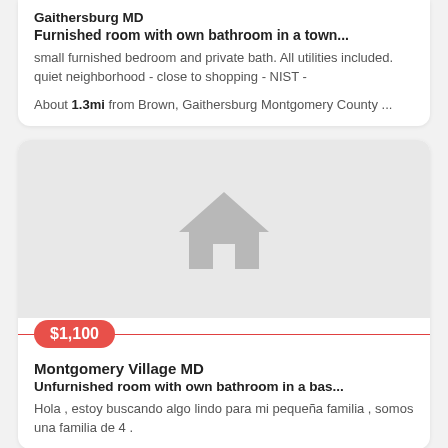Gaithersburg MD
Furnished room with own bathroom in a town...
small furnished bedroom and private bath. All utilities included. quiet neighborhood - close to shopping - NIST -
About 1.3mi from Brown, Gaithersburg Montgomery County ...
[Figure (illustration): Gray house icon placeholder image on light gray background]
$1,100
Montgomery Village MD
Unfurnished room with own bathroom in a bas...
Hola , estoy buscando algo lindo para mi pequeña familia , somos una familia de 4 .